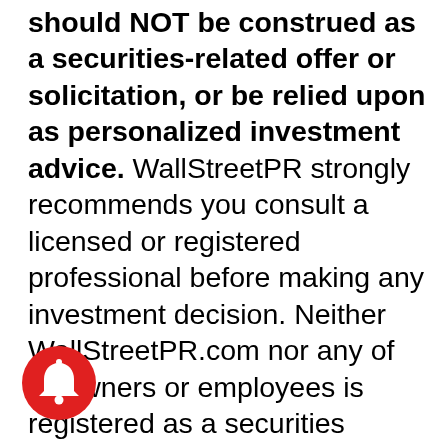should NOT be construed as a securities-related offer or solicitation, or be relied upon as personalized investment advice. WallStreetPR strongly recommends you consult a licensed or registered professional before making any investment decision. Neither WallStreetPR.com nor any of its owners or employees is registered as a securities broker-dealer, broker, investment advisor (IA), or IA representative with the U.S. Securities and Exchange Commission, any state securities regulatory authority, or any self-regulatory organization. WallStreetPR often gets compensated for advertisement services that are
[Figure (other): Red circular notification bell icon]